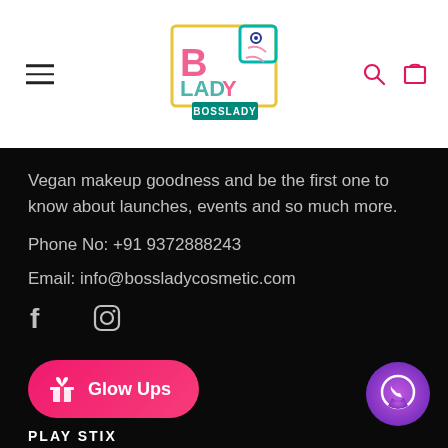[Figure (logo): BossLady cosmetics logo - colorful letters B, Lady in a square border with BOSSLADY text below]
Vegan makeup goodness and be the first one to know about launches, events and so much more.
Phone No: +91 9372888243
Email: info@bossladycosmetic.com
[Figure (infographic): Facebook and Instagram social media icons]
[Figure (infographic): Pink rounded button with gift icon and text Glow Ups]
[Figure (infographic): WhatsApp circular button with gradient purple background]
PLAY STIX